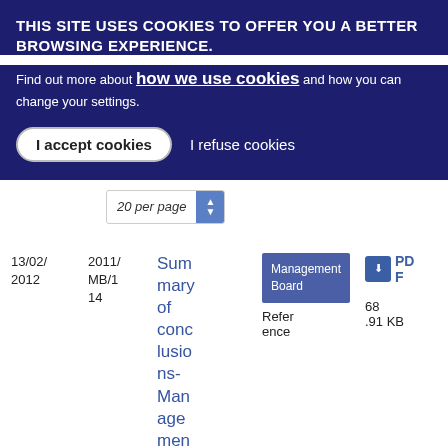THIS SITE USES COOKIES TO OFFER YOU A BETTER BROWSING EXPERIENCE.
Find out more about how we use cookies and how you can change your settings.
I accept cookies   I refuse cookies
20 per page
| Date | Reference | Title | Type | Reference | PDF |
| --- | --- | --- | --- | --- | --- |
| 13/02/2012 | 2011/MB/114 | Summary of conclusions-Management | Management Board | Reference | PDF 68.91 KB |